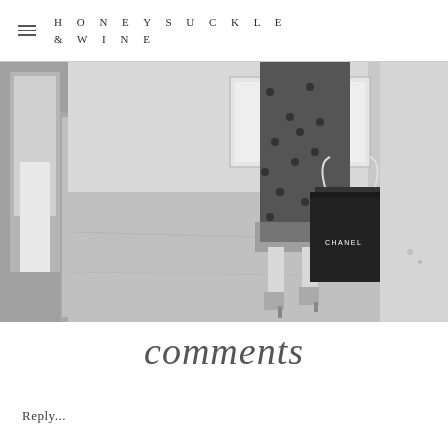HONEYSUCKLE & WINE
[Figure (photo): Black and white street photo showing the lower half of a woman walking, wearing a polka dot skirt and strappy heeled sandals, carrying a black CHANEL shopping bag. She is on a cobblestone or paved street near a building facade.]
comments
Reply...